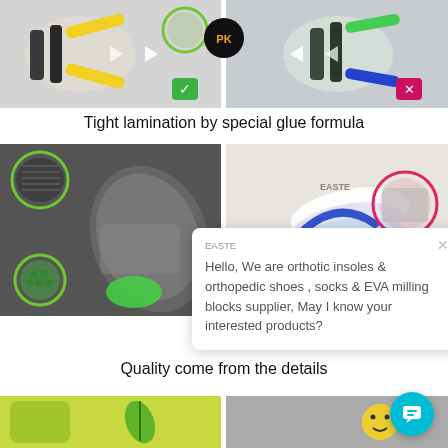[Figure (photo): Two side-by-side shoe insole flexibility comparison photos. Left side shows a correctly flexible insole (green checkmark), right side shows a stiffer insole (pink X). A black circular PK badge is centered between the two. White arrows point outward from center on both sides.]
Tight lamination by special glue formula
[Figure (photo): Two side-by-side product photos of orthotic insoles. Left shows a gray/green insole with zoomed-in material details in green-bordered circles. Right shows a layered insole cross-section. A chat bubble overlays the right side with a greeting message.]
Hello, We are orthotic insoles & orthopedic shoes , socks & EVA milling blocks supplier, May I know your interested products?
Quality come from the details
[Figure (photo): Two side-by-side product detail photos at the bottom of the page, partially visible. Left shows green mesh insole with leaf logo, right shows a gray/textured insole surface with emoji.]